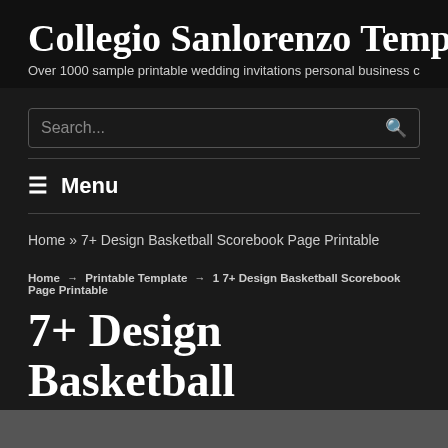Collegio Sanlorenzo Template
Over 1000 sample printable wedding invitations personal business c…
Search...
≡ Menu
Home » 7+ Design Basketball Scorebook Page Printable
Home → Printable Template → 1 7+ Design Basketball Scorebook Page Printable
7+ Design Basketball Scorebook Page Printable